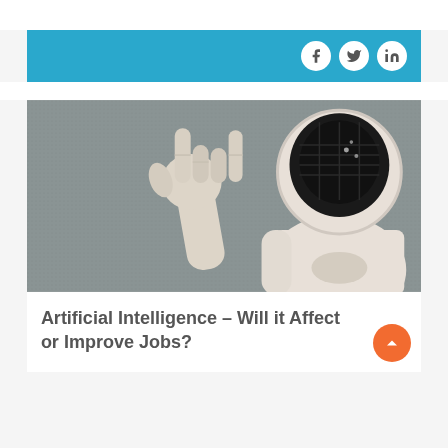[Figure (photo): A white humanoid robot raising its hand in a 'rock on' gesture with index and pinky fingers extended, against a grey background. The robot has a rounded white body with a dark visor/face.]
Artificial Intelligence – Will it Affect or Improve Jobs?